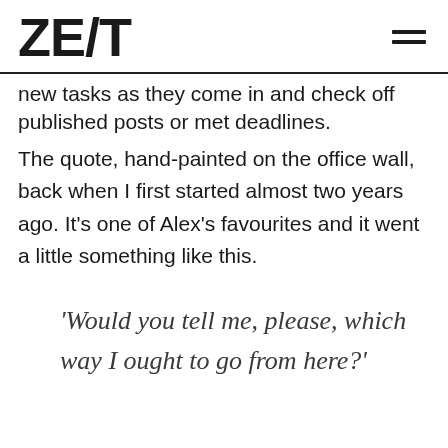ZEST
new tasks as they come in and check off published posts or met deadlines.
The quote, hand-painted on the office wall, back when I first started almost two years ago. It’s one of Alex’s favourites and it went a little something like this.
‘Would you tell me, please, which way I ought to go from here?’